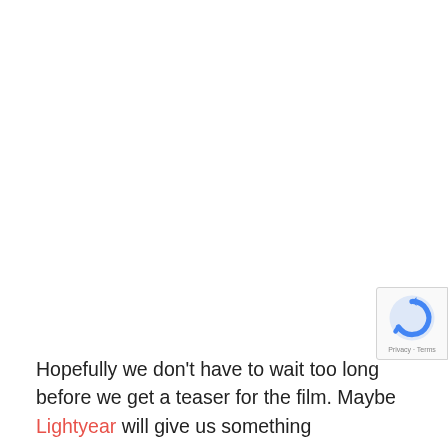Hopefully we don't have to wait too long before we get a teaser for the film. Maybe Lightyear will give us something